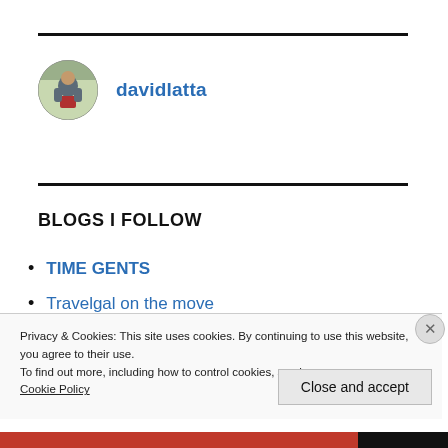[Figure (photo): Circular avatar photo of a person in a grey jacket and red clothing, outdoors.]
davidlatta
BLOGS I FOLLOW
TIME GENTS
Travelgal on the move
Privacy & Cookies: This site uses cookies. By continuing to use this website, you agree to their use.
To find out more, including how to control cookies, see here:
Cookie Policy
Close and accept